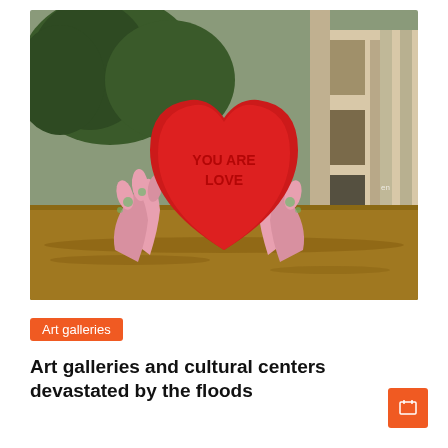[Figure (photo): A large red heart-shaped sculpture with pink hands holding it, partially submerged in brown floodwater, with trees and a building visible in the background. Text on the heart reads 'YOU ARE LOVE'.]
Art galleries
Art galleries and cultural centers devastated by the floods